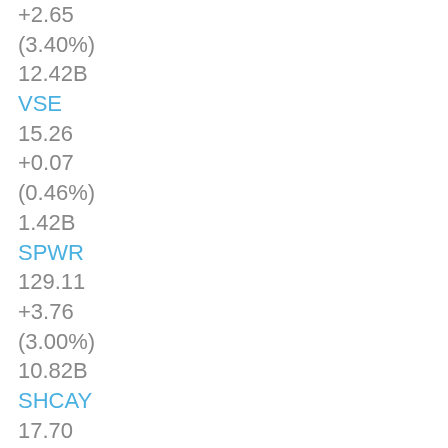+2.65
(3.40%)
12.42B
VSE
15.26
+0.07
(0.46%)
1.42B
SPWR
129.11
+3.76
(3.00%)
10.82B
SHCAY
17.70
+0.80
(4.73%)
19.30B
WFR
87.94
+1.46
(1.69%)